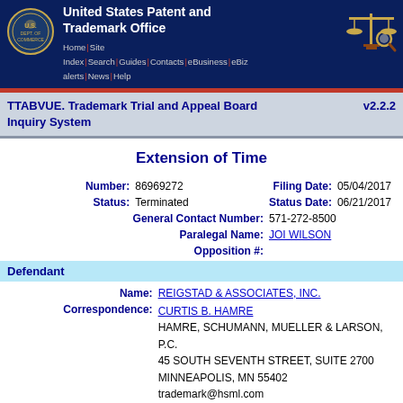United States Patent and Trademark Office | Home | Site Index | Search | Guides | Contacts | eBusiness | eBiz alerts | News | Help
TTABVUE. Trademark Trial and Appeal Board Inquiry System v2.2.2
Extension of Time
Number: 86969272 | Filing Date: 05/04/2017 | Status: Terminated | Status Date: 06/21/2017 | General Contact Number: 571-272-8500 | Paralegal Name: JOI WILSON | Opposition #:
Defendant
Name: REIGSTAD & ASSOCIATES, INC.
Correspondence: CURTIS B. HAMRE
HAMRE, SCHUMANN, MUELLER & LARSON, P.C.
45 SOUTH SEVENTH STREET, SUITE 2700
MINNEAPOLIS, MN 55402
trademark@hsml.com